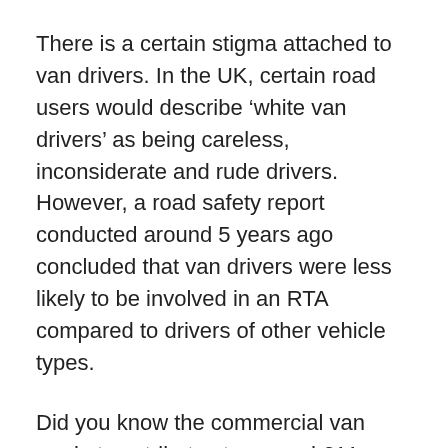There is a certain stigma attached to van drivers. In the UK, certain road users would describe ‘white van drivers’ as being careless, inconsiderate and rude drivers. However, a road safety report conducted around 5 years ago concluded that van drivers were less likely to be involved in an RTA compared to drivers of other vehicle types.
Did you know the commercial van market contributes to around £11 billion per year to the economy? Vans are a vital part of modern life in Cannock. You will see many different trades using vans such as plumbers, couriers, builders as well as electricians. When hiring a van in Cannock we are sure you will be a courteous and peaceful van driver alongside other road users.
Choosing a van which is right for the job